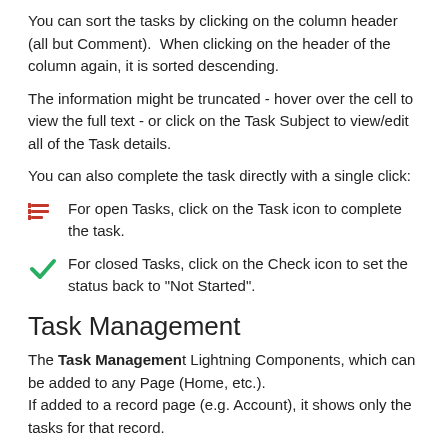You can sort the tasks by clicking on the column header (all but Comment).  When clicking on the header of the column again, it is sorted descending.
The information might be truncated - hover over the cell to view the full text - or click on the Task Subject to view/edit all of the Task details.
You can also complete the task directly with a single click:
For open Tasks, click on the Task icon to complete the task.
For closed Tasks, click on the Check icon to set the status back to "Not Started".
Task Management
The Task Management Lightning Components, which can be added to any Page (Home, etc.).
If added to a record page (e.g. Account), it shows only the tasks for that record.